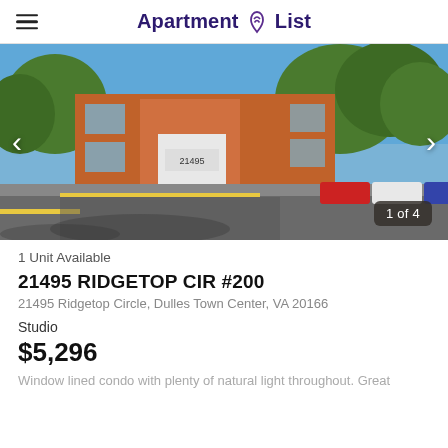Apartment List
[Figure (photo): Exterior photo of a multi-story brick office/apartment building with large windows, green trees, parked cars in lot, and a driveway. Shows '21495' on building entrance. Counter shows '1 of 4'.]
1 Unit Available
21495 RIDGETOP CIR #200
21495 Ridgetop Circle, Dulles Town Center, VA 20166
Studio
$5,296
Window lined condo with plenty of natural light throughout. Great